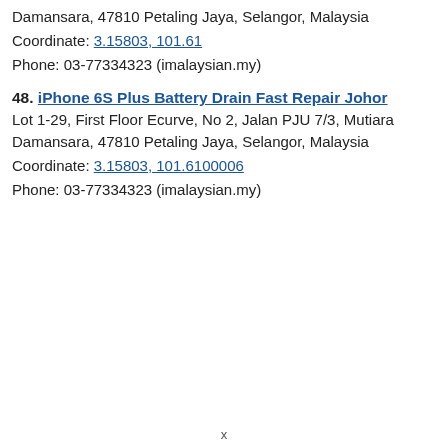Damansara, 47810 Petaling Jaya, Selangor, Malaysia
Coordinate: 3.15803, 101.61
Phone: 03-77334323 (imalaysian.my)
48. iPhone 6S Plus Battery Drain Fast Repair Johor
Lot 1-29, First Floor Ecurve, No 2, Jalan PJU 7/3, Mutiara Damansara, 47810 Petaling Jaya, Selangor, Malaysia
Coordinate: 3.15803, 101.6100006
Phone: 03-77334323 (imalaysian.my)
x